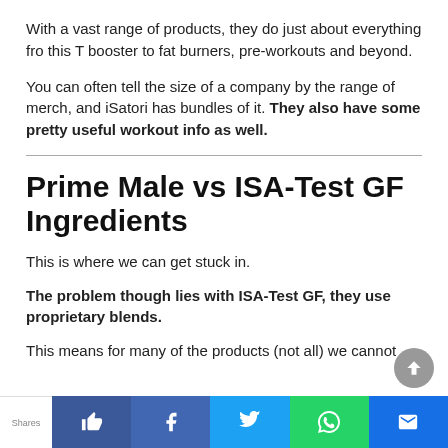With a vast range of products, they do just about everything fro this T booster to fat burners, pre-workouts and beyond.
You can often tell the size of a company by the range of merch, and iSatori has bundles of it. They also have some pretty useful workout info as well.
Prime Male vs ISA-Test GF Ingredients
This is where we can get stuck in.
The problem though lies with ISA-Test GF, they use proprietary blends.
This means for many of the products (not all) we cannot
Shares | thumbs up | f | Twitter | WhatsApp | email